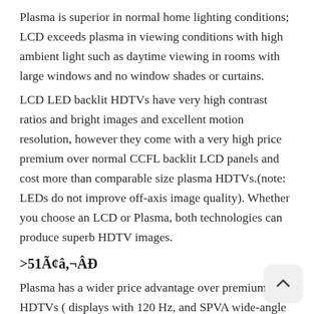Plasma is superior in normal home lighting conditions; LCD exceeds plasma in viewing conditions with high ambient light such as daytime viewing in rooms with large windows and no window shades or curtains.
LCD LED backlit HDTVs have very high contrast ratios and bright images and excellent motion resolution, however they come with a very high price premium over normal CCFL backlit LCD panels and cost more than comparable size plasma HDTVs.(note: LEDs do not improve off-axis image quality). Whether you choose an LCD or Plasma, both technologies can produce superb HDTV images.
>51Ã¢â,¬Â
Plasma has a wider price advantage over premium LCD HDTVs ( displays with 120 Hz, and SPVA wide-angle